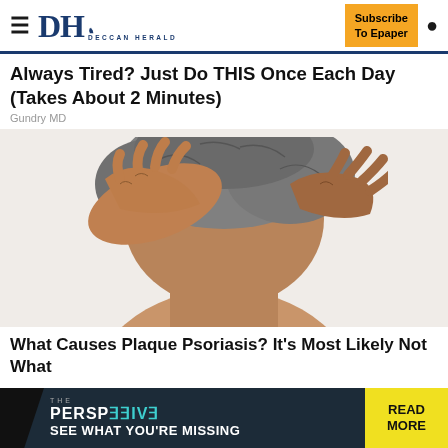DH DECCAN HERALD | Subscribe To Epaper
Always Tired? Just Do THIS Once Each Day (Takes About 2 Minutes)
Gundry MD
[Figure (photo): Close-up of an elderly person's head with grey hair, hands pressing on head, white background]
What Causes Plaque Psoriasis? It's Most Likely Not What
[Figure (infographic): Advertisement banner: THE PERSPECTIVE - SEE WHAT YOU'RE MISSING - READ MORE]